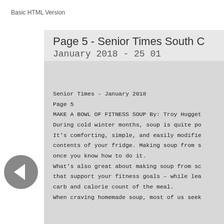Basic HTML Version
Page 5 - Senior Times South C
January 2018 - 25 01
Senior Times - January 2018
Page 5
MAKE A BOWL OF FITNESS SOUP By: Troy Hugget
During cold winter months, soup is quite po
It’s comforting, simple, and easily modifie
contents of your fridge. Making soup from s
once you know how to do it.
What’s also great about making soup from sc
that support your fitness goals – while lea
carb and calorie count of the meal.
When craving homemade soup, most of us seek